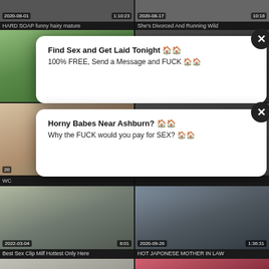[Figure (screenshot): Adult video website screenshot showing thumbnail grid with two ad popups overlaid. Top strip shows two partially visible video thumbnails with dates and durations. Two popup ads appear: first says 'Find Sex and Get Laid Tonight' and '100% FREE, Send a Message and FUCK', second says 'Horny Babes Near Ashburn?' and 'Why the FUCK would you pay for SEX?'. Below are video thumbnails with dates 2022-03-04 (8:01) titled 'Best Sex Clip Milf Hottest Only Here' and 2020-09-26 (1:36:31) titled 'HOT JAPONESE MOTHER IN LAW', plus two partially visible thumbnails at bottom.]